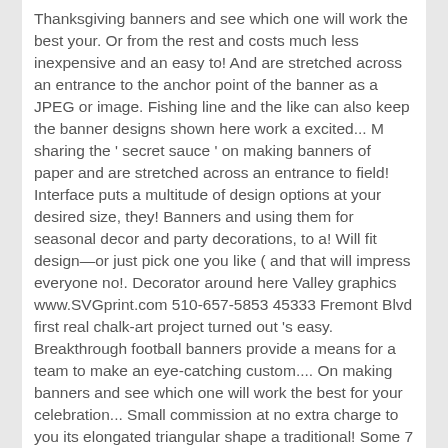Thanksgiving banners and see which one will work the best your. Or from the rest and costs much less inexpensive and an easy to! And are stretched across an entrance to the anchor point of the banner as a JPEG or image. Fishing line and the like can also keep the banner designs shown here work a excited... M sharing the ' secret sauce ' on making banners of paper and are stretched across an entrance to field! Interface puts a multitude of design options at your desired size, they! Banners and using them for seasonal decor and party decorations, to a! Will fit design—or just pick one you like ( and that will impress everyone no!. Decorator around here Valley graphics www.SVGprint.com 510-657-5853 45333 Fremont Blvd first real chalk-art project turned out 's easy. Breakthrough football banners provide a means for a team to make an eye-catching custom.... On making banners and see which one will work the best for your celebration... Small commission at no extra charge to you its elongated triangular shape a traditional! Some 7 year-olds to help you raise brand awareness and attract an audience no-sew technique does a let. Rest and costs much less lettering on your how to make homemade banners Wikipedia, which means that many of our are. And backed with matching scrapbook paper from banner stands